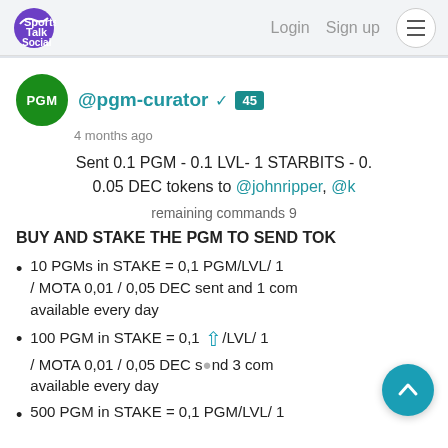Sports Talk Social | Login | Sign up
@pgm-curator ✓ 45
4 months ago
Sent 0.1 PGM - 0.1 LVL- 1 STARBITS - 0.0... 0.05 DEC tokens to @johnripper, @k...
remaining commands 9
BUY AND STAKE THE PGM TO SEND TOK...
10 PGMs in STAKE = 0,1 PGM/LVL/ 1 ... / MOTA 0,01 / 0,05 DEC sent and 1 com... available every day
100 PGM in STAKE = 0,1 .../LVL/ 1 ... / MOTA 0,01 / 0,05 DEC s...nd 3 com... available every day
500 PGM in STAKE = 0,1 PGM/LVL/ 1 ...